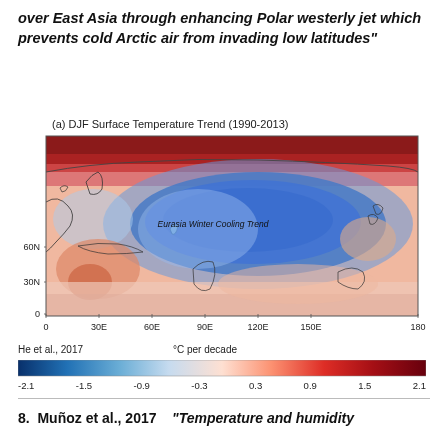over East Asia through enhancing Polar westerly jet which prevents cold Arctic air from invading low latitudes"
(a) DJF Surface Temperature Trend (1990-2013)
[Figure (map): DJF Surface Temperature Trend map (1990-2013) showing Eurasia Winter Cooling Trend in blue over central Asia/Russia with warm (red) anomalies in Arctic. X-axis: 0 to 180 longitude (30E increments), Y-axis: 0 to 60N latitude. Color scale from -2.1 to 2.1 °C per decade.]
He et al., 2017    °C per decade
-2.1  -1.5  -0.9  -0.3  0.3  0.9  1.5  2.1
8.  Muñoz et al., 2017    "Temperature and humidity